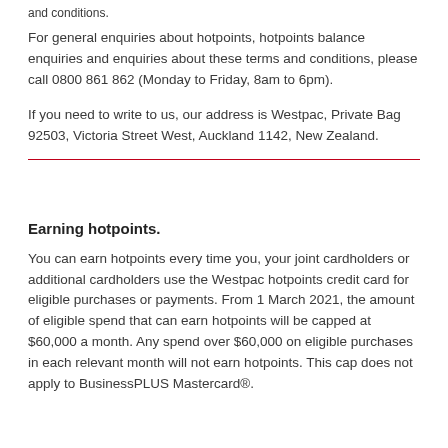and conditions.
For general enquiries about hotpoints, hotpoints balance enquiries and enquiries about these terms and conditions, please call 0800 861 862 (Monday to Friday, 8am to 6pm).
If you need to write to us, our address is Westpac, Private Bag 92503, Victoria Street West, Auckland 1142, New Zealand.
Earning hotpoints.
You can earn hotpoints every time you, your joint cardholders or additional cardholders use the Westpac hotpoints credit card for eligible purchases or payments. From 1 March 2021, the amount of eligible spend that can earn hotpoints will be capped at $60,000 a month. Any spend over $60,000 on eligible purchases in each relevant month will not earn hotpoints. This cap does not apply to BusinessPLUS Mastercard®.